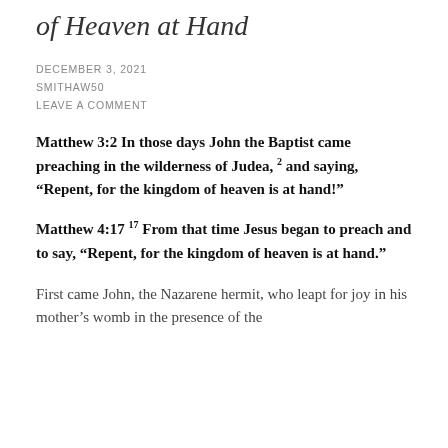of Heaven at Hand
DECEMBER 3, 2021
SMITHAW50
LEAVE A COMMENT
Matthew 3:2 In those days John the Baptist came preaching in the wilderness of Judea, 2 and saying, “Repent, for the kingdom of heaven is at hand!”
Matthew 4:17 17 From that time Jesus began to preach and to say, “Repent, for the kingdom of heaven is at hand.”
First came John, the Nazarene hermit, who leapt for joy in his mother’s womb in the presence of the